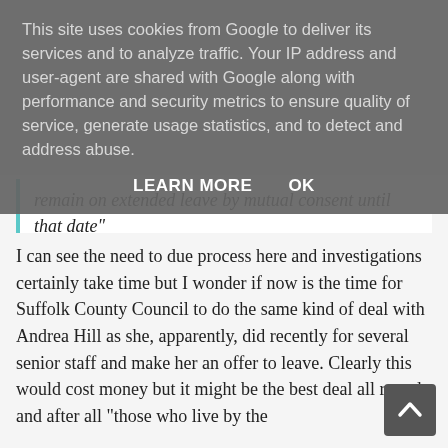This site uses cookies from Google to deliver its services and to analyze traffic. Your IP address and user-agent are shared with Google along with performance and security metrics to ensure quality of service, generate usage statistics, and to detect and address abuse.
LEARN MORE    OK
remain on extended leave by mutual consent until that date"
I can see the need to due process here and investigations certainly take time but I wonder if now is the time for Suffolk County Council to do the same kind of deal with Andrea Hill as she, apparently, did recently for several senior staff and make her an offer to leave. Clearly this would cost money but it might be the best deal all round and after all "those who live by the